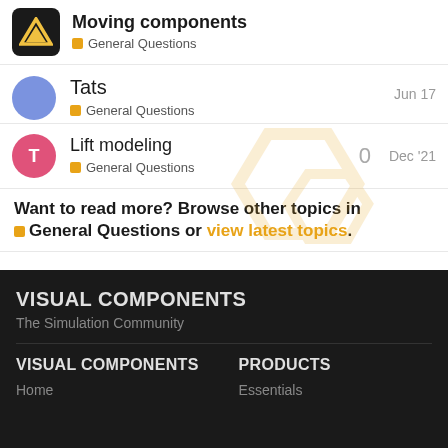Moving components — General Questions
Tats — General Questions — Jun 17
Lift modeling — General Questions — Dec '21 — 0 replies
Want to read more? Browse other topics in General Questions or view latest topics.
VISUAL COMPONENTS
The Simulation Community
VISUAL COMPONENTS
Home
PRODUCTS
Essentials